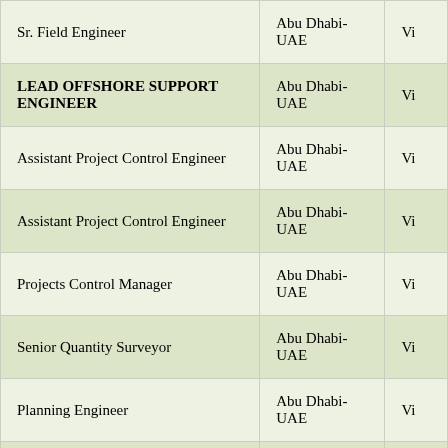| Job Title | Location |  |
| --- | --- | --- |
| Sr. Field Engineer | Abu Dhabi-UAE | Vi |
| LEAD OFFSHORE SUPPORT ENGINEER | Abu Dhabi-UAE | Vi |
| Assistant Project Control Engineer | Abu Dhabi-UAE | Vi |
| Assistant Project Control Engineer | Abu Dhabi-UAE | Vi |
| Projects Control Manager | Abu Dhabi-UAE | Vi |
| Senior Quantity Surveyor | Abu Dhabi-UAE | Vi |
| Planning Engineer | Abu Dhabi-UAE | Vi |
| Field Engineer | Abu Dhabi-UAE | Vi |
| Principal Engineer (Electrical) | Abu Dhabi-UAE | Vi |